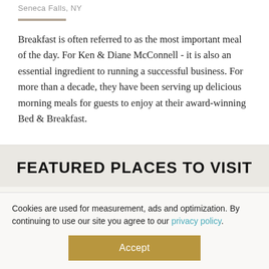Seneca Falls, NY
Breakfast is often referred to as the most important meal of the day. For Ken & Diane McConnell - it is also an essential ingredient to running a successful business. For more than a decade, they have been serving up delicious morning meals for guests to enjoy at their award-winning Bed & Breakfast.
FEATURED PLACES TO VISIT
Cookies are used for measurement, ads and optimization. By continuing to use our site you agree to our privacy policy.
Accept